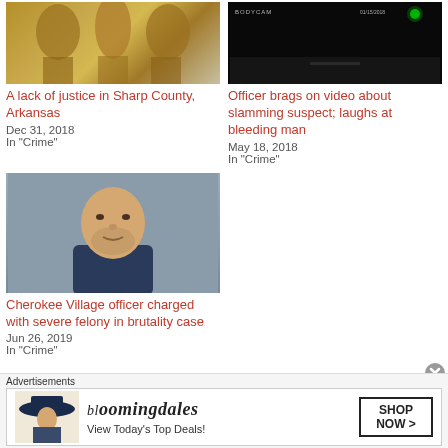[Figure (photo): Trophy/statue image for 'A lack of justice in Sharp County, Arkansas' article]
A lack of justice in Sharp County, Arkansas
Dec 31, 2018
In "Crime"
[Figure (photo): Night bodycam footage for 'Officer brags on video about slamming suspect; laughs at bleeding man' article]
Officer brags on video about slamming suspect; laughs at bleeding man
May 18, 2018
In "Crime"
[Figure (photo): Mugshot of man for 'Cherokee Village officer charged with severe felony in brutality case' article]
Cherokee Village officer charged with severe felony in brutality case
Jun 26, 2019
In "Crime"
Advertisements
[Figure (photo): Bloomingdales advertisement: 'View Today's Top Deals!' with 'SHOP NOW >' button and model wearing hat]